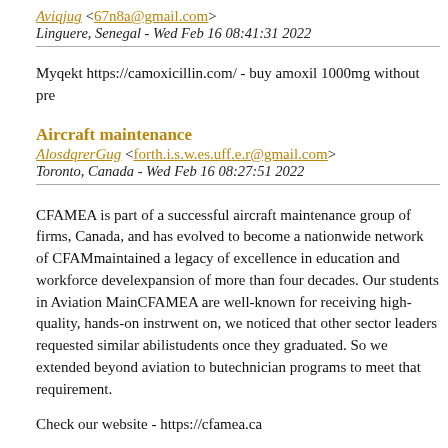Aviqjug <67n8a@gmail.com>
Linguere, Senegal - Wed Feb 16 08:41:31 2022
Myqekt https://camoxicillin.com/ - buy amoxil 1000mg without pre
Aircraft maintenance
AlosdqrerGug <forth.i.s.w.es.uff.e.r@gmail.com>
Toronto, Canada - Wed Feb 16 08:27:51 2022
CFAMEA is part of a successful aircraft maintenance group of firms, Canada, and has evolved to become a nationwide network of CFAM maintained a legacy of excellence in education and workforce devel expansion of more than four decades. Our students in Aviation Main CFAMEA are well-known for receiving high-quality, hands-on instr went on, we noticed that other sector leaders requested similar abili students once they graduated. So we extended beyond aviation to bu technician programs to meet that requirement.
Check our website - https://cfamea.ca
Idhhld todhed